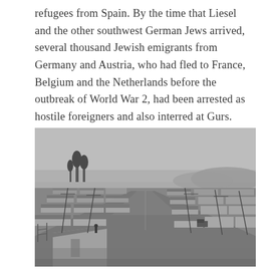refugees from Spain. By the time that Liesel and the other southwest German Jews arrived, several thousand Jewish emigrants from Germany and Austria, who had fled to France, Belgium and the Netherlands before the outbreak of World War 2, had been arrested as hostile foreigners and also interred at Gurs. Within a few days there were around 13,000 prisoners living in the barracks.
[Figure (photo): Black and white aerial/elevated photograph of the Gurs internment camp showing long rows of wooden barracks stretching into the distance, with dirt roads between them, utility poles, sparse trees on the left, and flat landscape extending to the horizon.]